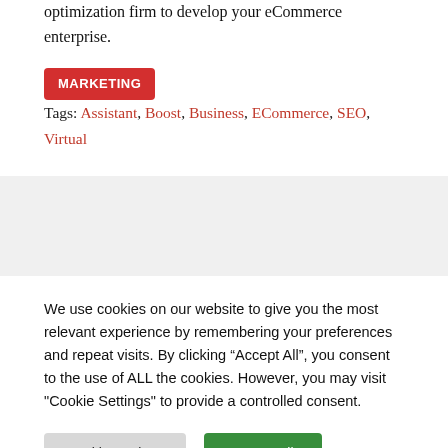optimization firm to develop your eCommerce enterprise.
MARKETING  Tags: Assistant, Boost, Business, ECommerce, SEO, Virtual
We use cookies on our website to give you the most relevant experience by remembering your preferences and repeat visits. By clicking “Accept All”, you consent to the use of ALL the cookies. However, you may visit "Cookie Settings" to provide a controlled consent.